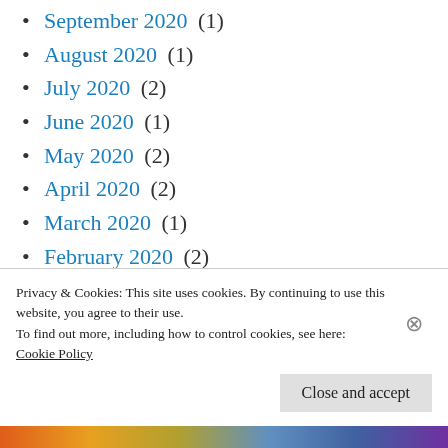September 2020 (1)
August 2020 (1)
July 2020 (2)
June 2020 (1)
May 2020 (2)
April 2020 (2)
March 2020 (1)
February 2020 (2)
January 2020 (2)
December 2019 (5)
November 2019 (2)
Privacy & Cookies: This site uses cookies. By continuing to use this website, you agree to their use.
To find out more, including how to control cookies, see here:
Cookie Policy
Close and accept